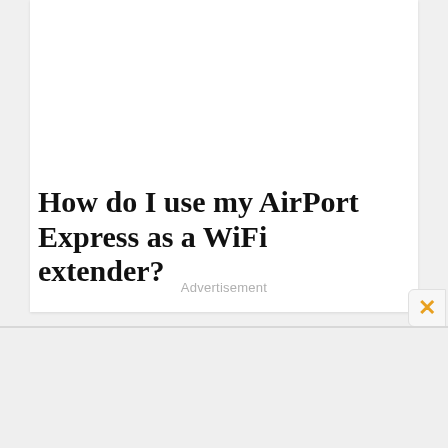[Figure (screenshot): Video thumbnail showing hands holding a smartphone over a wooden surface, with Abt Electronics branding overlay: stylized 'Abt' logo and text 'ABT.COM 888.228.5800']
How do I use my AirPort Express as a WiFi extender?
Advertisement
[Figure (other): Orange X close button in rounded rectangle at right edge]